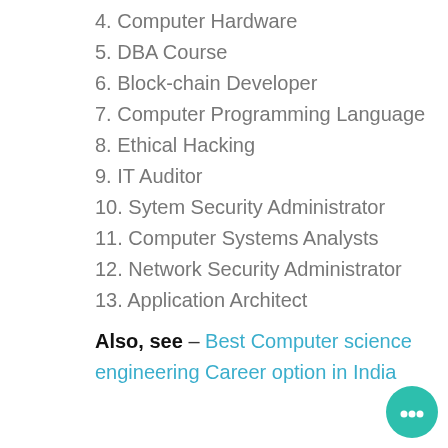3. Web Development
4. Computer Hardware
5. DBA Course
6. Block-chain Developer
7. Computer Programming Language
8. Ethical Hacking
9. IT Auditor
10. Sytem Security Administrator
11. Computer Systems Analysts
12. Network Security Administrator
13. Application Architect
Also, see – Best Computer science engineering Career option in India